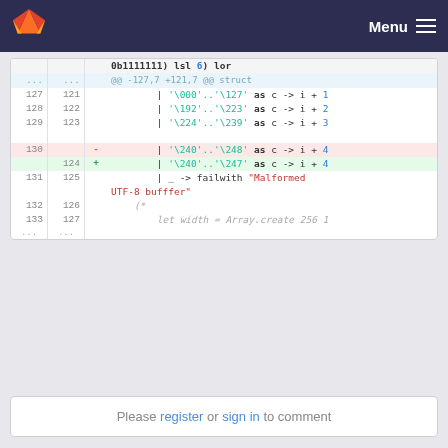Menu
[Figure (screenshot): GitLab code diff showing changes to UTF-8 byte range matching, from '\240'...'\248' to '\240'...'\247', with surrounding context lines including struct hunk header, pattern match arms for byte ranges, and a failwith error message for Malformed UTF-8 buffer.]
Please register or sign in to comment